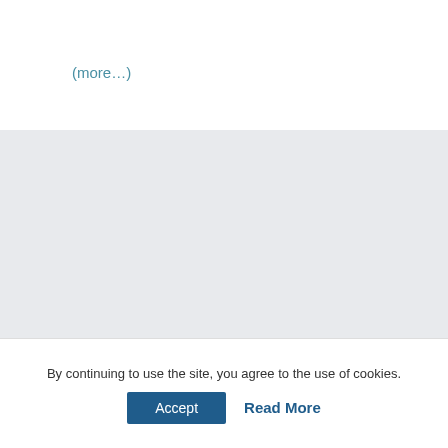(more…)
Search
Latest News
By continuing to use the site, you agree to the use of cookies.
Accept
Read More